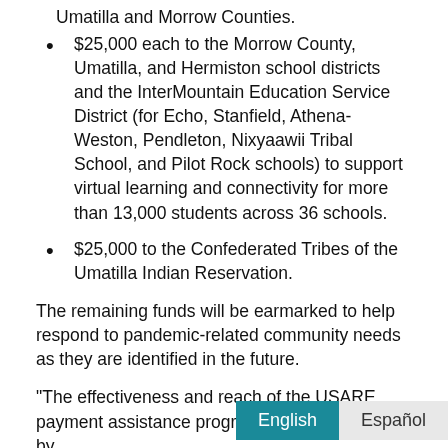$25,000 each to the Morrow County, Umatilla, and Hermiston school districts and the InterMountain Education Service District (for Echo, Stanfield, Athena-Weston, Pendleton, Nixyaawii Tribal School, and Pilot Rock schools) to support virtual learning and connectivity for more than 13,000 students across 36 schools.
$25,000 to the Confederated Tribes of the Umatilla Indian Reservation.
The remaining funds will be earmarked to help respond to pandemic-related community needs as they are identified in the future.
“The effectiveness and reach of the USARE payment assistance program will be amplified by